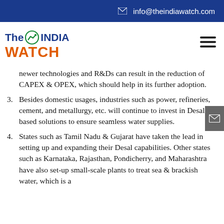info@theindiawatch.com
[Figure (logo): The India Watch logo with blue and orange text and a chart icon]
newer technologies and R&Ds can result in the reduction of CAPEX & OPEX, which should help in its further adoption.
3. Besides domestic usages, industries such as power, refineries, cement, and metallurgy, etc. will continue to invest in Desal based solutions to ensure seamless water supplies.
4. States such as Tamil Nadu & Gujarat have taken the lead in setting up and expanding their Desal capabilities. Other states such as Karnataka, Rajasthan, Pondicherry, and Maharashtra have also set-up small-scale plants to treat sea & brackish water, which is a